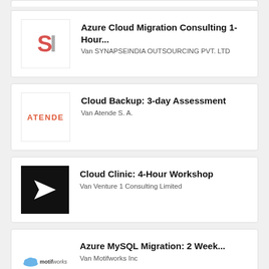Azure Cloud Migration Consulting 1- Hour... Van SYNAPSEINDIA OUTSOURCING PVT. LTD
Cloud Backup: 3-day Assessment Van Atende S. A.
Cloud Clinic: 4-Hour Workshop Van Venture 1 Consulting Limited
Azure MySQL Migration: 2 Week... Van Motifworks Inc